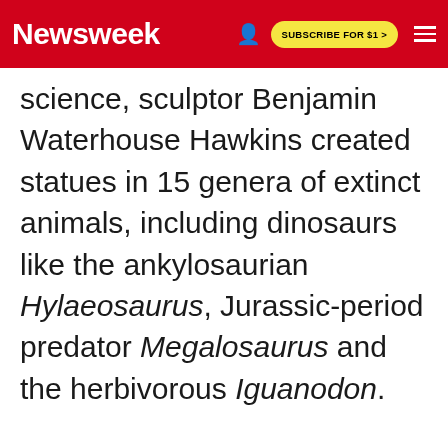Newsweek | SUBSCRIBE FOR $1 >
science, sculptor Benjamin Waterhouse Hawkins created statues in 15 genera of extinct animals, including dinosaurs like the ankylosaurian Hylaeosaurus, Jurassic-period predator Megalosaurus and the herbivorous Iguanodon.